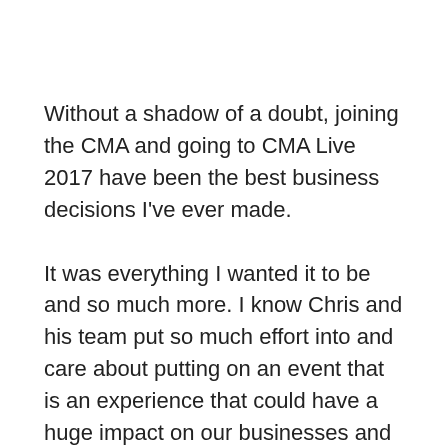Without a shadow of a doubt, joining the CMA and going to CMA Live 2017 have been the best business decisions I've ever made.
It was everything I wanted it to be and so much more. I know Chris and his team put so much effort into and care about putting on an event that is an experience that could have a huge impact on our businesses and they completely delivered.
I felt like there was something for everyone